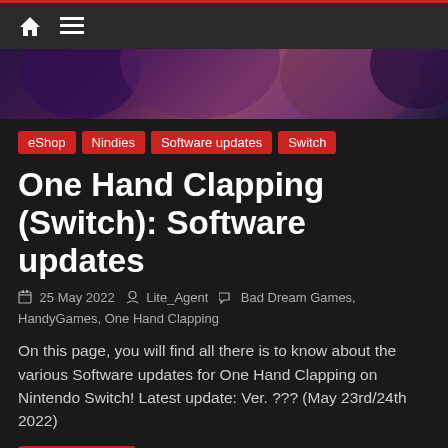Navigation bar with home icon and hamburger menu
[Figure (illustration): Partial hero banner image showing stylized anime/comic art with purple and pink tones, figures in background]
eShop
Nindies
Software updates
Switch
One Hand Clapping (Switch): Software updates
25 May 2022  Lite_Agent  Bad Dream Games, HandyGames, One Hand Clapping
On this page, you will find all there is to know about the various Software updates for One Hand Clapping on Nintendo Switch! Latest update: Ver. ??? (May 23rd/24th 2022)
Read more